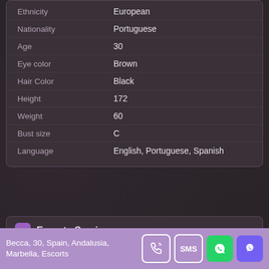| Attribute | Value |
| --- | --- |
| Ethnicity | European |
| Nationality | Portuguese |
| Age | 30 |
| Eye color | Brown |
| Hair Color | Black |
| Height | 172 |
| Weight | 60 |
| Bust size | C |
| Language | English, Portuguese, Spanish |
Escorts Services
Escort services
Becca, 30, Spain, Andalusia, Marbella, Escorts